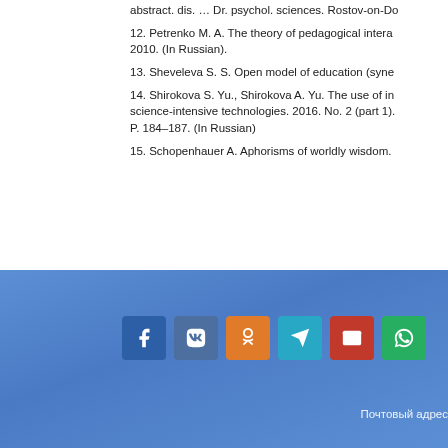abstract. dis. … Dr. psychol. sciences. Rostov-on-Do
12. Petrenko M. A. The theory of pedagogical intera 2010. (In Russian).
13. Sheveleva S. S. Open model of education (syne
14. Shirokova S. Yu., Shirokova A. Yu. The use of in science-intensive technologies. 2016. No. 2 (part 1). P. 184–187. (In Russian)
15. Schopenhauer A. Aphorisms of worldly wisdom.
[Figure (infographic): Social share buttons: Facebook, VK, OK, Telegram, Email, WhatsApp on a blue gradient background]
Почтовый адрес